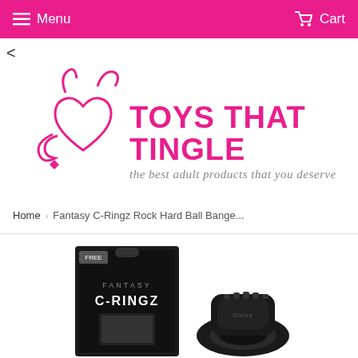Menu   Cart
<
[Figure (logo): Toys That Tingle logo — pink stylized heart with devil horns and tail, pink uppercase text 'TOYS THAT TINGLE', gray italic script 'the best adult products that you deserve']
Home  ›  Fantasy C-Ringz Rock Hard Ball Bange...
[Figure (photo): Fantasy C-Ringz product packaging box (black with product name) alongside a black silicone ring product]